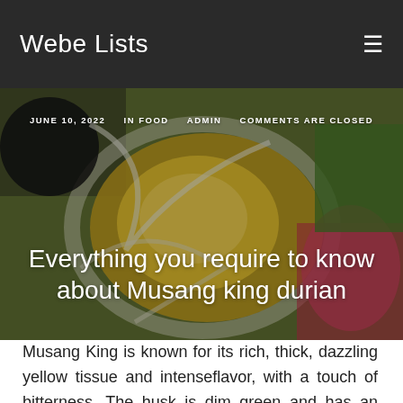Webe Lists
[Figure (photo): Close-up photo of an open Musang King durian showing bright yellow flesh inside a spiky green husk, with other colorful fruits visible in the background.]
JUNE 10, 2022   IN FOOD   ADMIN   COMMENTS ARE CLOSED
Everything you require to know about Musang king durian
Musang King is known for its rich, thick, dazzling yellow tissue and intenseflavor, with a touch of bitterness. The husk is dim green and has an unmistakable star shape